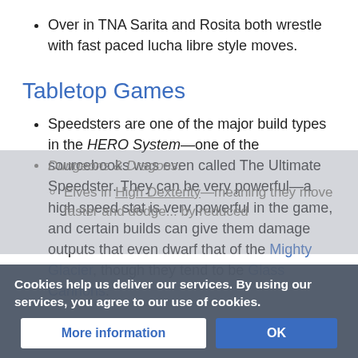Over in TNA Sarita and Rosita both wrestle with fast paced lucha libre style moves.
Tabletop Games
Speedsters are one of the major build types in the HERO System—one of the sourcebooks was even called The Ultimate Speedster. They can be very powerful—a high speed stat is very powerful in the game, and certain builds can give them damage outputs that even dwarf that of the Mighty Glacier, though they tend to be Glass Cannons.
Cookies help us deliver our services. By using our services, you agree to our use of cookies.
More information | OK